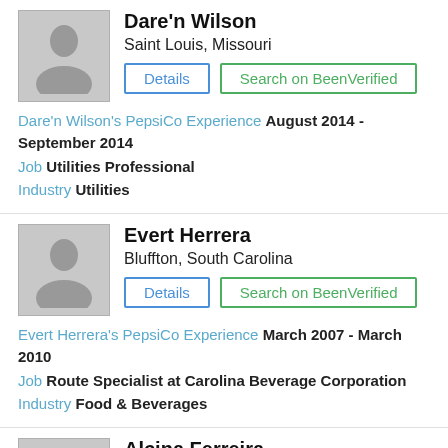Dare'n Wilson
Saint Louis, Missouri
Dare'n Wilson's PepsiCo Experience August 2014 - September 2014
Job Utilities Professional
Industry Utilities
Evert Herrera
Bluffton, South Carolina
Evert Herrera's PepsiCo Experience March 2007 - March 2010
Job Route Specialist at Carolina Beverage Corporation
Industry Food & Beverages
Alcina Ferreira
United States